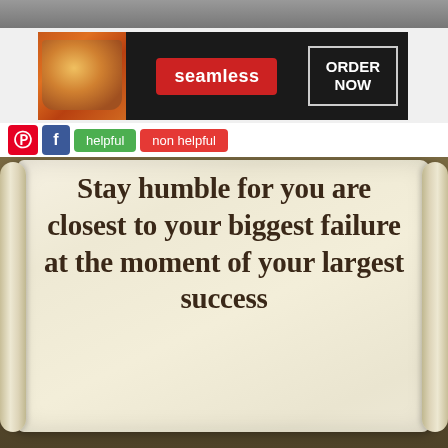[Figure (screenshot): Top gray bar representing partial photo at top of page]
[Figure (screenshot): Seamless food delivery advertisement banner with pizza image, seamless logo, and ORDER NOW button]
[Figure (infographic): Social sharing bar with Pinterest and Facebook icons, helpful and non helpful buttons]
[Figure (illustration): Parchment scroll background with motivational quote: Stay humble for you are closest to your biggest failure at the moment of your largest success]
Stay humble for you are closest to your biggest failure at the moment of your largest success